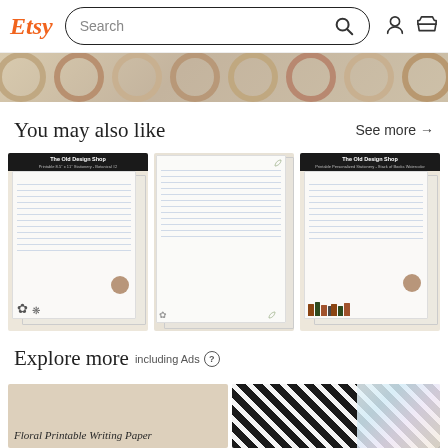Etsy | Search
[Figure (photo): Decorative wicker or rattan rings/rings in beige/tan tones, partially cropped strip at top of page]
You may also like
See more →
[Figure (photo): Three product listing card thumbnails showing printable stationery/writing paper with botanical/floral designs from The Old Design Shop. Left: Printable 8.5x11 Stationery - Botanical #2. Middle: plain lined writing paper with border. Right: Printable Personalized Stationery - Stack of Books Watercolor.]
Explore more including Ads
[Figure (photo): Bottom preview showing two product thumbnails: left shows 'Floral Printable Writing Paper' in italic script on beige background; right shows diagonal black and white striped pattern with pastel/multicolor element.]